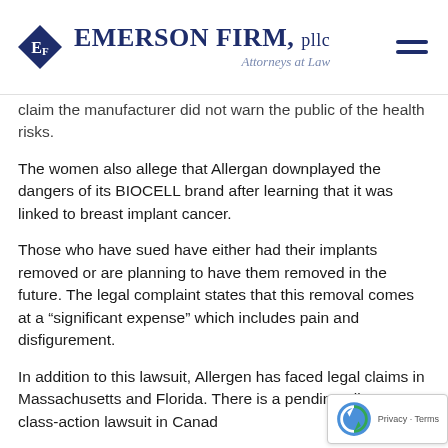Emerson Firm, PLLC — Attorneys at Law
claim the manufacturer did not warn the public of the health risks.
The women also allege that Allergan downplayed the dangers of its BIOCELL brand after learning that it was linked to breast implant cancer.
Those who have sued have either had their implants removed or are planning to have them removed in the future. The legal complaint states that this removal comes at a “significant expense” which includes pain and disfigurement.
In addition to this lawsuit, Allergen has faced legal claims in Massachusetts and Florida. There is a pending Allergan class-action lawsuit in Canad